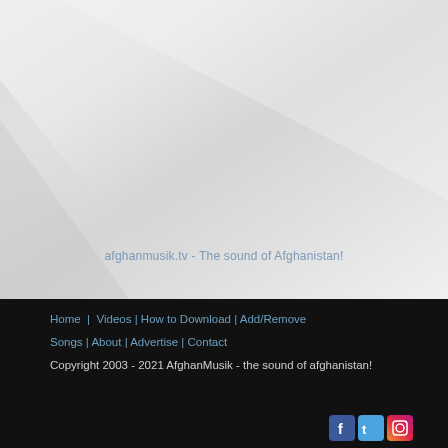[Figure (photo): Light gray background with subtle diagonal shadow/gradient, watermark text 'afghanmusik.tv - The sound of Afghanistan!' overlaid]
afghanmusik.tv - The sound of Afghanistan!
Home | Videos | How to Download | Add/Remove Songs | About | Advertise | Contact
Copyright 2003 - 2021 AfghanMusik - the sound of afghanistan!